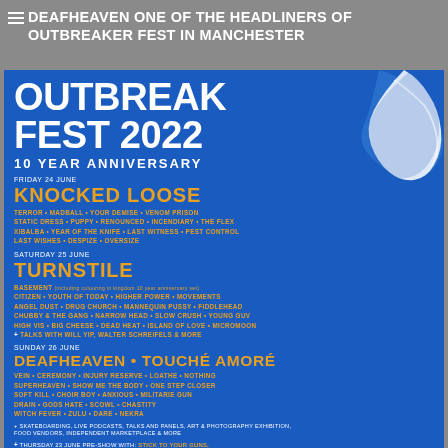DEAFHEAVEN ONE OF THE HEADLINERS OF OUTBREAKER FEST IN MANCHESTER
[Figure (illustration): Outbreak Fest 2022 event poster on blue background with skateboarding silhouette image, listing lineup for a 3-day festival in Manchester UK]
OUTBREAK FEST 2022 10 YEAR ANNIVERSARY
FRIDAY 24 JUNE
KNOCKED LOOSE
TERROR • MADBALL • YOUR DEMISE • VENOM PRISON
STATIC DRESS • PUPPY • RENOUNCED • INCENDIARY • THE FLEX
XIBALBA • YEAR OF THE KNIFE • LAST WITNESS • PEST CONTROL
LAST WISHES • DESPIZE • OVERSIZE
SATURDAY 25 JUNE
TURNSTILE
BASEMENT (including Colouring in Kingdom 10 Year Anniversary Set)
CITIZEN • YOUTH OF TODAY • HIGHER POWER • MOVEMENTS
ANGEL DUST • DRUG CHURCH • MANNEQUIN PUSSY • FIDDLEHEAD
CHUBBY & THE GANG • NARROW HEAD • SLOW CRUSH • YOUNG GUV
HIGH VIS • BIG CHEESE • DEAD HEAT • ISLAND OF LOVE • MICROMOON
+ TALKS WITH WILL YIP, WALTER SCHREIFELS & MORE
SUNDAY 26 JUNE
DEAFHEAVEN • TOUCHÉ AMORÉ
VEIN • CEREMONY • INJURY RESERVE • LOATHE • NOTHING
SUPERHEAVEN • SHOW ME THE BODY • ONE STEP CLOSER
SOFT KILL • CHOIR BOY • ANXIOUS • MILITARIE GUN
DRAIN • GODS HATE • SCOWL • CHASTITY
WITCH FEVER • ZULU • DARE • NEKRA
+ SKATEBOARDING, LIVE PODCASTS, TALKS AND PANELS, ART & PHOTOGRAPHY EXHIBITION, FOOD VENDORS, INDEPENDENT MARKETPLACE & MORE
+ THURSDAY 23 JUNE PRE-SHOW WITH: STICK TO YOUR GUNS, COUNTERPARTS, SEEYOUSPACECOWBOY & STATIC DRESS
BOWLERS EXHIBITION CENTRE
MANCHESTER, UK